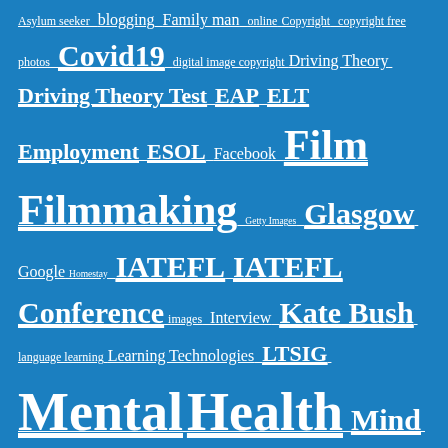[Figure (other): Tag cloud on a blue background showing various educational and technology-related tags in different sizes indicating frequency/importance. Tags include: Asylum seeker, blogging, Family man, online, Copyright, copyright free photos, Covid19, digital image copyright, Driving Theory, Driving Theory Test, EAP, ELT, Employment, ESOL, Facebook, Film, Filmmaking, Getty Images, Glasgow, Google, Homestay, IATEFL, IATEFL Conference, images, Interview, Kate Bush, language learning, Learning Technologies, LTSIG, Mental Health, Mind, Mindmapping, Norwich, Online Teaching, Parkinson's, Pearsonisation, Performance, personalisation, photos, Podcasting, Popplet, Pre-packaged, Presessional, Professional Development, research, Saudi Arabia, Sheffield, etc.]